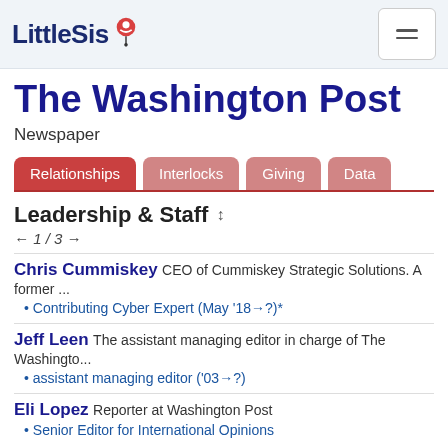LittleSis
The Washington Post
Newspaper
Leadership & Staff
← 1 / 3 →
Chris Cummiskey  CEO of Cummiskey Strategic Solutions. A former ... • Contributing Cyber Expert (May '18→?)*
Jeff Leen  The assistant managing editor in charge of The Washingto... • assistant managing editor ('03→?)
Eli Lopez  Reporter at Washington Post • Senior Editor for International Opinions